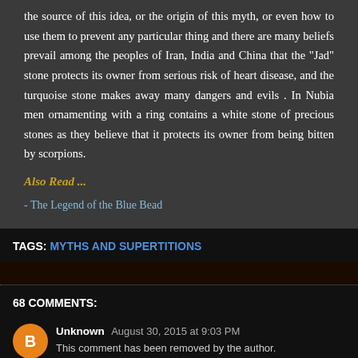the source of this idea, or the origin of this myth, or even how to use them to prevent any particular thing and there are many beliefs prevail among the peoples of Iran, India and China that the "Jad" stone protects its owner from serious risk of heart disease, and the turquoise stone makes away many dangers and evils . In Nubia men ornamenting with a ring contains a white stone of precious stones as they believe that it protects its owner from being bitten by scorpions.
Also Read ...
- The Legend of the Blue Bead
TAGS: MYTHS AND SUPERTITIONS
68 COMMENTS:
Unknown August 30, 2015 at 9:03 PM
This comment has been removed by the author.